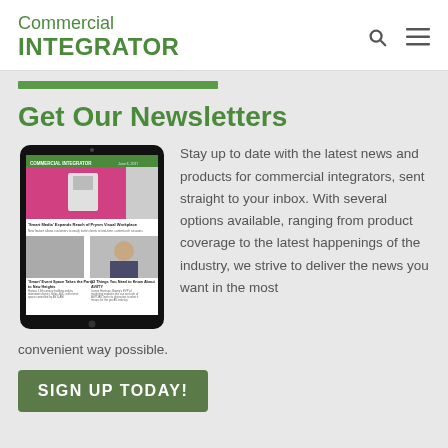Commercial INTEGRATOR
Get Our Newsletters
[Figure (screenshot): A tablet device displaying the Commercial Integrator newsletter with article thumbnails and headlines about smart event spaces and AV/IT topics.]
Stay up to date with the latest news and products for commercial integrators, sent straight to your inbox. With several options available, ranging from product coverage to the latest happenings of the industry, we strive to deliver the news you want in the most convenient way possible.
SIGN UP TODAY!